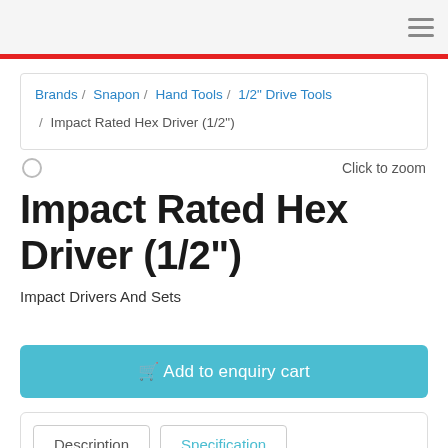☰
Brands / Snapon / Hand Tools / 1/2" Drive Tools / Impact Rated Hex Driver (1/2")
Click to zoom
Impact Rated Hex Driver (1/2")
Impact Drivers And Sets
🛒 Add to enquiry cart
Description   Specification